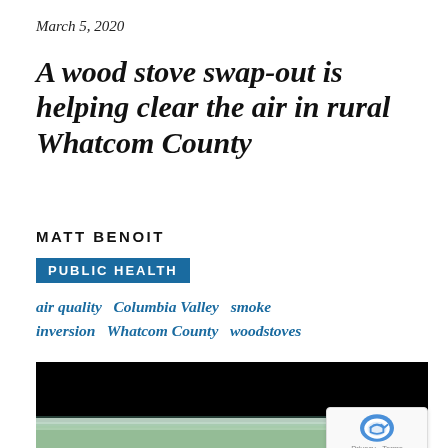March 5, 2020
A wood stove swap-out is helping clear the air in rural Whatcom County
MATT BENOIT
PUBLIC HEALTH
air quality  Columbia Valley  smoke  inversion  Whatcom County  woodstoves
[Figure (photo): Outdoor scenic photo showing a dark sky at top and misty forested treeline at bottom, likely depicting air quality/smoke inversion conditions in Whatcom County]